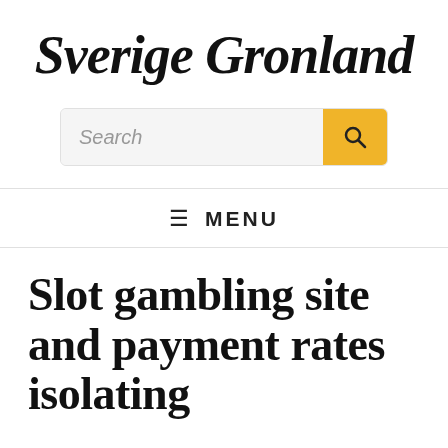Sverige Gronland
[Figure (other): Search bar with yellow search button containing a magnifying glass icon]
≡ MENU
Slot gambling site and payment rates isolating